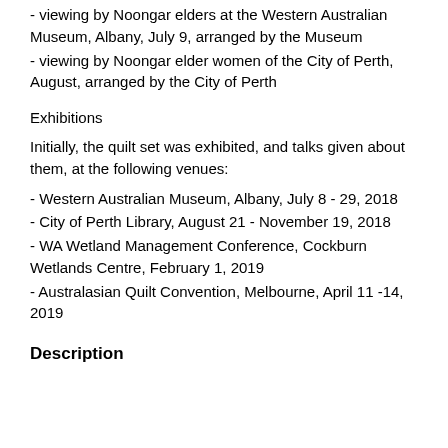- viewing by Noongar elders at the Western Australian Museum, Albany, July 9, arranged by the Museum
- viewing by Noongar elder women of the City of Perth, August, arranged by the City of Perth
Exhibitions
Initially, the quilt set was exhibited, and talks given about them, at the following venues:
- Western Australian Museum, Albany, July 8 - 29, 2018
- City of Perth Library, August 21 - November 19, 2018
- WA Wetland Management Conference, Cockburn Wetlands Centre, February 1, 2019
- Australasian Quilt Convention, Melbourne, April 11 -14, 2019
Description